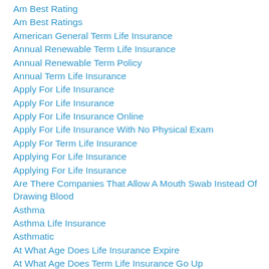Am Best Rating
Am Best Ratings
American General Term Life Insurance
Annual Renewable Term Life Insurance
Annual Renewable Term Policy
Annual Term Life Insurance
Apply For Life Insurance
Apply For Life Insurance
Apply For Life Insurance Online
Apply For Life Insurance With No Physical Exam
Apply For Term Life Insurance
Applying For Life Insurance
Applying For Life Insurance
Are There Companies That Allow A Mouth Swab Instead Of Drawing Blood
Asthma
Asthma Life Insurance
Asthmatic
At What Age Does Life Insurance Expire
At What Age Does Term Life Insurance Go Up
Average Cost Of Life Insurance